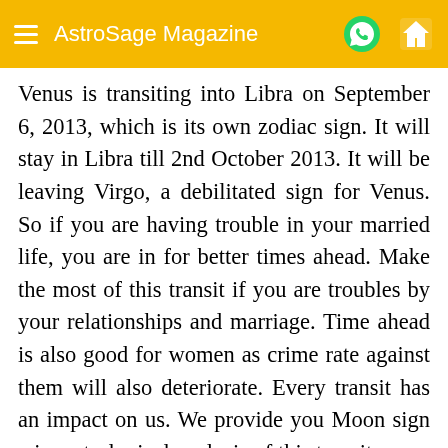AstroSage Magazine
Venus is transiting into Libra on September 6, 2013, which is its own zodiac sign. It will stay in Libra till 2nd October 2013. It will be leaving Virgo, a debilitated sign for Venus. So if you are having trouble in your married life, you are in for better times ahead. Make the most of this transit if you are troubles by your relationships and marriage. Time ahead is also good for women as crime rate against them will also deteriorate. Every transit has an impact on us. We provide you Moon sign wise astrological analysis of this transit.
Click Here For Venus Transit In Libra (Horoscope)